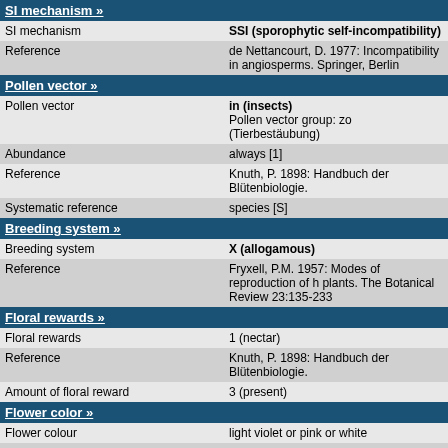SI mechanism »
| SI mechanism | SSI (sporophytic self-incompatibility) |
| Reference | de Nettancourt, D. 1977: Incompatibility in angiosperms. Springer, Berlin |
Pollen vector »
| Pollen vector | in (insects)
Pollen vector group: zo (Tierbestäubung) |
| Abundance | always [1] |
| Reference | Knuth, P. 1898: Handbuch der Blütenbiologie. |
| Systematic reference | species [S] |
Breeding system »
| Breeding system | X (allogamous) |
| Reference | Fryxell, P.M. 1957: Modes of reproduction of h plants. The Botanical Review 23:135-233 |
Floral rewards »
| Floral rewards | 1 (nectar) |
| Reference | Knuth, P. 1898: Handbuch der Blütenbiologie. |
| Amount of floral reward | 3 (present) |
Flower color »
| Flower colour | light violet or pink or white |
| Basic flower colour | vi (violet) |
| Reference | Schubert, R., Jäger, E.J., Werner, K. (Hrsg.) 1 Exkursionsflora Band 3. Atlas der Gefäßpflanz Aufl., Volk und Wissen, Berlin |
UV reflection of the flower »
| UV reflection in the periphery of the flower | 1 (0-7 %) |
| UV reflection in the centre of the | 1 (0-7 %) |